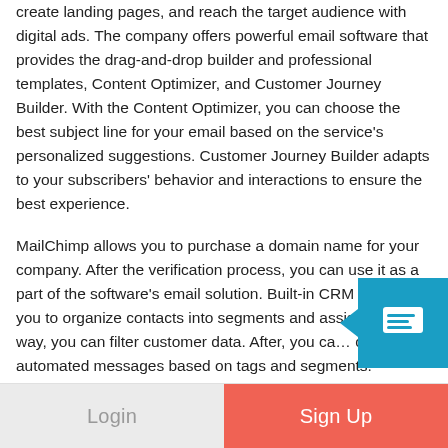create landing pages, and reach the target audience with digital ads. The company offers powerful email software that provides the drag-and-drop builder and professional templates, Content Optimizer, and Customer Journey Builder. With the Content Optimizer, you can choose the best subject line for your email based on the service's personalized suggestions. Customer Journey Builder adapts to your subscribers' behavior and interactions to ensure the best experience.

MailChimp allows you to purchase a domain name for your company. After the verification process, you can use it as a part of the software's email solution. Built-in CRM enables you to organize contacts into segments and assign t… This way, you can filter customer data. After, you ca… create automated messages based on tags and segments.
[Figure (other): Blue chat bubble icon with speech lines, arrow pointing left]
Login   Sign Up